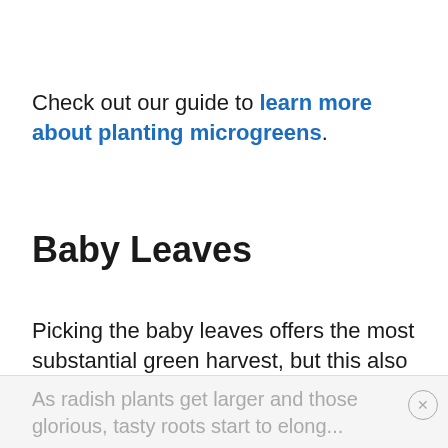Check out our guide to learn more about planting microgreens.
Baby Leaves
Picking the baby leaves offers the most substantial green harvest, but this also requires the most attention to timing.
As radish plants get larger and those glorious, tasty roots start to elong...